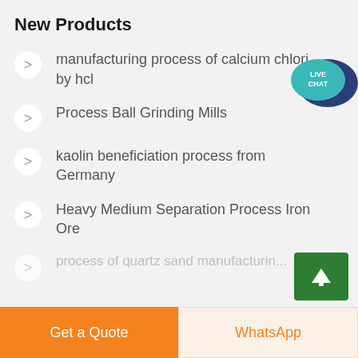New Products
manufacturing process of calcium chlori... by hcl
Process Ball Grinding Mills
kaolin beneficiation process from Germany
Heavy Medium Separation Process Iron Ore
process of quartz sand manufacturin...
Get a Quote
WhatsApp